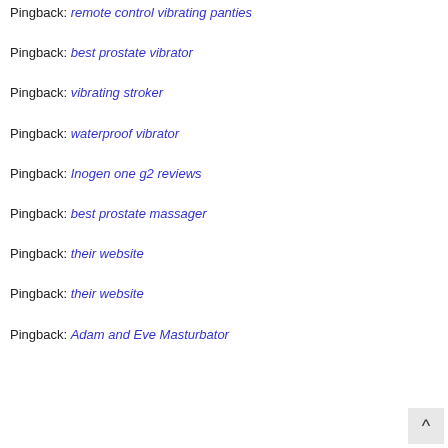Pingback: remote control vibrating panties
Pingback: best prostate vibrator
Pingback: vibrating stroker
Pingback: waterproof vibrator
Pingback: Inogen one g2 reviews
Pingback: best prostate massager
Pingback: their website
Pingback: their website
Pingback: Adam and Eve Masturbator